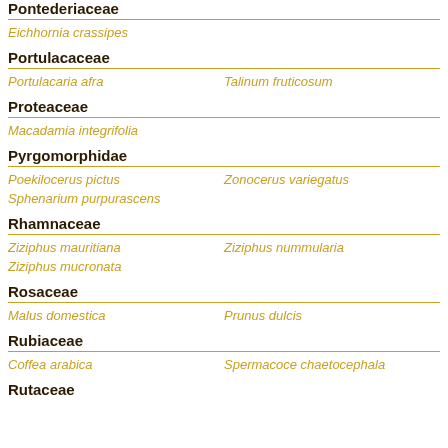Pontederiaceae
Eichhornia crassipes
Portulacaceae
Portulacaria afra    Talinum fruticosum
Proteaceae
Macadamia integrifolia
Pyrgomorphidae
Poekilocerus pictus    Zonocerus variegatus
Sphenarium purpurascens
Rhamnaceae
Ziziphus mauritiana    Ziziphus nummularia
Ziziphus mucronata
Rosaceae
Malus domestica    Prunus dulcis
Rubiaceae
Coffea arabica    Spermacoce chaetocephala
Rutaceae